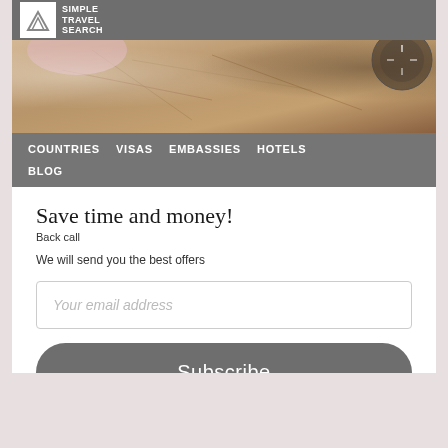[Figure (logo): Simple Travel Search logo with mountain icon and text]
[Figure (photo): Overhead view of a travel map with compass and hand, warm brown tones]
COUNTRIES   VISAS   EMBASSIES   HOTELS
BLOG
Save time and money!
Back call
We will send you the best offers
Your email address
Subscribe